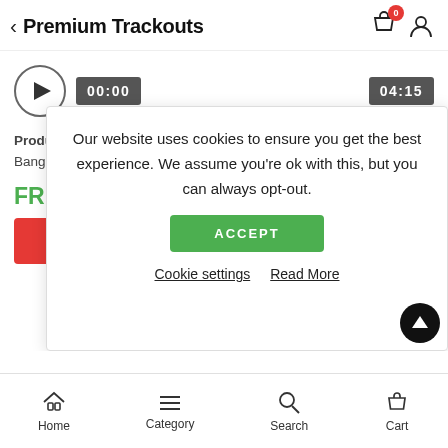Premium Trackouts
[Figure (screenshot): Audio player with play button circle, time display 00:00 and duration 04:15]
Producer: Motabeatz BPM: 130 Time: 4:14 Type: Banger, Hard, Hip-Hop, Trap
FREE
[Figure (other): Red button (add to cart or similar)]
Our website uses cookies to ensure you get the best experience. We assume you're ok with this, but you can always opt-out.
ACCEPT
Cookie settings   Read More
Home  Category  Search  Cart